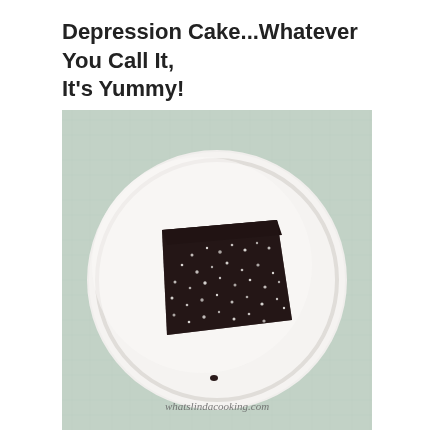Depression Cake...Whatever You Call It, It's Yummy!
[Figure (photo): A slice of dark chocolate depression cake dusted with powdered sugar, served on a round white plate. The plate sits on a light blue/teal cloth background. A watermark reads 'whatslindacooking.com'.]